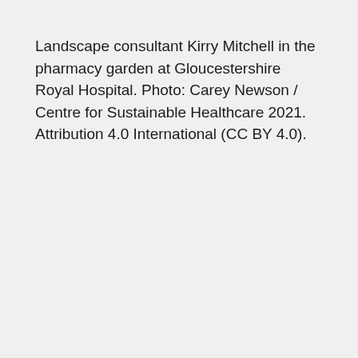Landscape consultant Kirry Mitchell in the pharmacy garden at Gloucestershire Royal Hospital. Photo: Carey Newson / Centre for Sustainable Healthcare 2021. Attribution 4.0 International (CC BY 4.0).